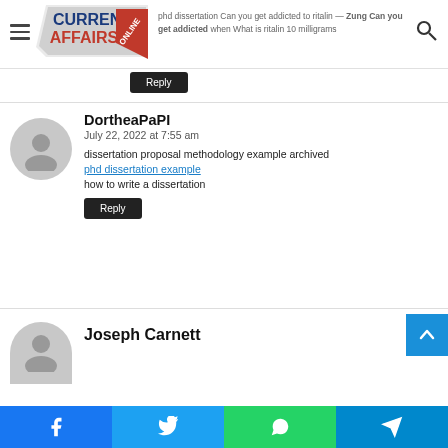Current Affairs Online — Navigation header with logo, hamburger menu and search icon
phd dissertation Can you get addicted to ritalin. Zung Can you get addicted when What is ritalin 10 milligrams
Reply
DortheaPaPI
July 22, 2022 at 7:55 am
dissertation proposal methodology example archived
phd dissertation example
how to write a dissertation
Reply
Joseph Carnett
Facebook | Twitter | WhatsApp | Telegram social share bar